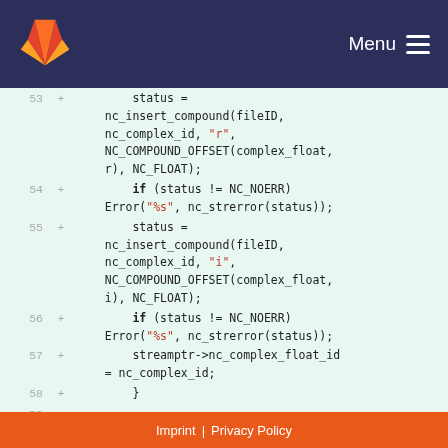GitLab — Menu
Code diff view showing lines 53-60 of a C source file with nc_insert_compound calls
Imprint | Privacy Policy